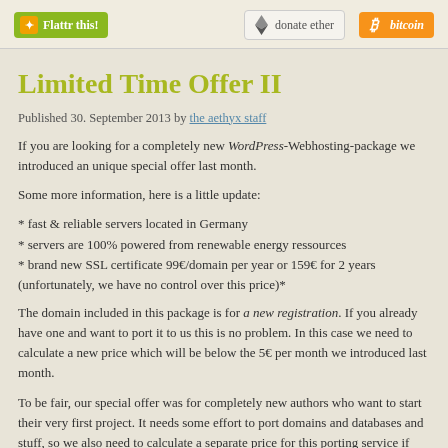[Figure (other): Header bar with three donation/social buttons: Flattr this!, donate ether, bitcoin]
Limited Time Offer II
Published 30. September 2013 by the aethyx staff
If you are looking for a completely new WordPress-Webhosting-package we introduced an unique special offer last month.
Some more information, here is a little update:
* fast & reliable servers located in Germany
* servers are 100% powered from renewable energy ressources
* brand new SSL certificate 99€/domain per year or 159€ for 2 years (unfortunately, we have no control over this price)*
The domain included in this package is for a new registration. If you already have one and want to port it to us this is no problem. In this case we need to calculate a new price which will be below the 5€ per month we introduced last month.
To be fair, our special offer was for completely new authors who want to start their very first project. It needs some effort to port domains and databases and stuff, so we also need to calculate a separate price for this porting service if you are moving to us. Also keep in mind that it